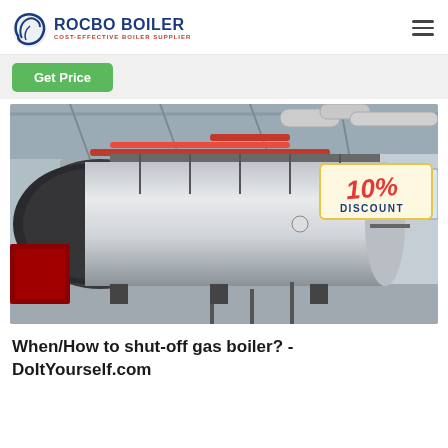ROCBO BOILER - COST-EFFECTIVE BOILER SUPPLIER
[Figure (logo): Rocbo Boiler logo with circular swirl icon, company name in navy blue bold uppercase, tagline COST-EFFECTIVE BOILER SUPPLIER in red small caps]
Get Price
[Figure (photo): Industrial gas boiler in a factory setting. Large horizontal cylindrical silver boiler tank with dark front end cap, red pipes along the top, metal walkway/platform, exposed roof trusses and ductwork. A 10% DISCOUNT badge overlaid in upper right.]
When/How to shut-off gas boiler? - DoItYourself.com